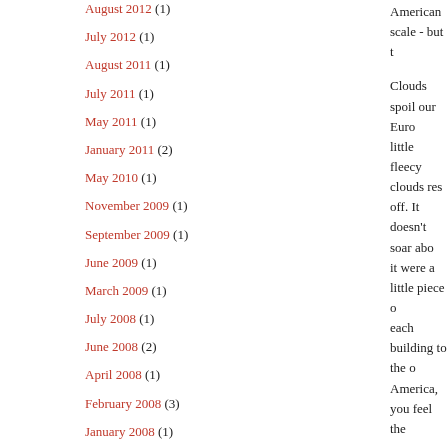July 2012 (1)
August 2011 (1)
July 2011 (1)
May 2011 (1)
January 2011 (2)
May 2010 (1)
November 2009 (1)
September 2009 (1)
June 2009 (1)
March 2009 (1)
July 2008 (1)
June 2008 (2)
April 2008 (1)
February 2008 (3)
January 2008 (1)
American scale - but t
Clouds spoil our Euro little fleecy clouds res off. It doesn't soar abo it were a little piece o each building to the o America, you feel the
By contrast with the A benefits of verticality a ring-road. It is very possibility that these r their very competition born, an object beyon collectivity and indiv cities of the Renaissan
No, architecture shou gathers together all th was made here - made technologies,
exaggerated all dimer